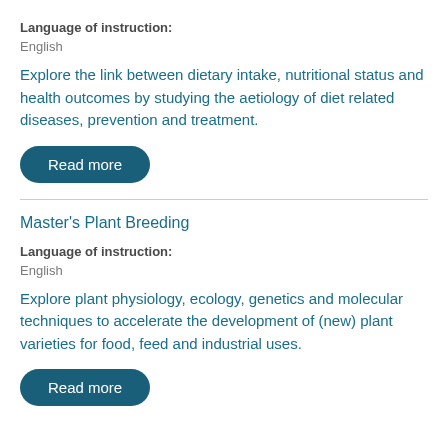Language of instruction:
English
Explore the link between dietary intake, nutritional status and health outcomes by studying the aetiology of diet related diseases, prevention and treatment.
Read more
Master's Plant Breeding
Language of instruction:
English
Explore plant physiology, ecology, genetics and molecular techniques to accelerate the development of (new) plant varieties for food, feed and industrial uses.
Read more